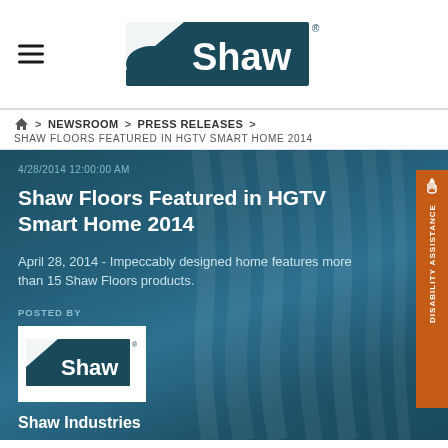Shaw (logo header)
Home > NEWSROOM > PRESS RELEASES > SHAW FLOORS FEATURED IN HGTV SMART HOME 2014
4/28/2014 12:00:00 AM
Shaw Floors Featured in HGTV Smart Home 2014
April 28, 2014 - Impeccably designed home features more than 15 Shaw Floors products.
POSTED BY
[Figure (logo): Shaw logo in white box]
Shaw Industries